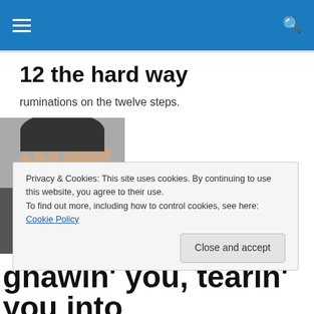Navigation bar with hamburger menu and search icon
12 the hard way
ruminations on the twelve steps.
[Figure (photo): Black and white photo of hands gripping or tearing pages of a book/stack of papers]
Privacy & Cookies: This site uses cookies. By continuing to use this website, you agree to their use.
To find out more, including how to control cookies, see here: Cookie Policy
Close and accept
gnawin' you, tearin' you into